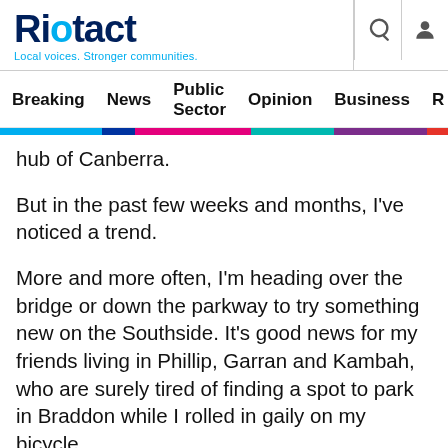Riotact — Local voices. Stronger communities.
Breaking  News  Public Sector  Opinion  Business  R
hub of Canberra.
But in the past few weeks and months, I've noticed a trend.
More and more often, I'm heading over the bridge or down the parkway to try something new on the Southside. It's good news for my friends living in Phillip, Garran and Kambah, who are surely tired of finding a spot to park in Braddon while I rolled in gaily on my bicycle.